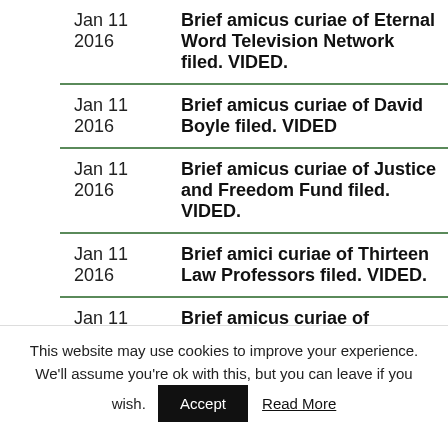| Date | Description |
| --- | --- |
| Jan 11 2016 | Brief amicus curiae of Eternal Word Television Network filed. VIDED. |
| Jan 11 2016 | Brief amicus curiae of David Boyle filed. VIDED |
| Jan 11 2016 | Brief amicus curiae of Justice and Freedom Fund filed. VIDED. |
| Jan 11 2016 | Brief amici curiae of Thirteen Law Professors filed. VIDED. |
| Jan 11 2016 | Brief amicus curiae of International Conference of Evangelical Chaplain Endorsers filed. VIDED. |
This website may use cookies to improve your experience. We'll assume you're ok with this, but you can leave if you wish. Accept Read More